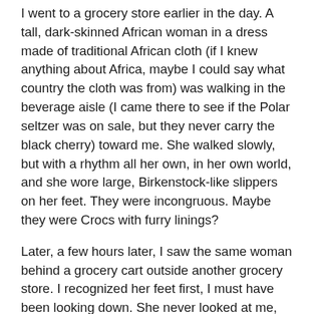I went to a grocery store earlier in the day. A tall, dark-skinned African woman in a dress made of traditional African cloth (if I knew anything about Africa, maybe I could say what country the cloth was from) was walking in the beverage aisle (I came there to see if the Polar seltzer was on sale, but they never carry the black cherry) toward me. She walked slowly, but with a rhythm all her own, in her own world, and she wore large, Birkenstock-like slippers on her feet. They were incongruous. Maybe they were Crocs with furry linings?
Later, a few hours later, I saw the same woman behind a grocery cart outside another grocery store. I recognized her feet first, I must have been looking down. She never looked at me, neither time.
When I read blogs in which the words are written on a